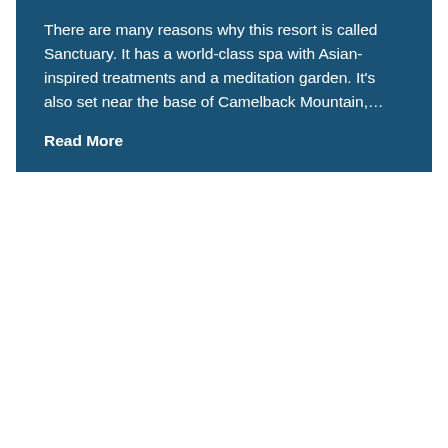There are many reasons why this resort is called Sanctuary. It has a world-class spa with Asian-inspired treatments and a meditation garden. It's also set near the base of Camelback Mountain,…
Read More